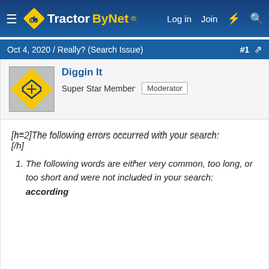TractorByNet — Log in   Join
Oct 4, 2020 / Really? (Search Issue)   #1
Diggin It
Super Star Member  Moderator
[h=2]The following errors occurred with your search:
[/h]
The following words are either very common, too long, or too short and were not included in your search: according